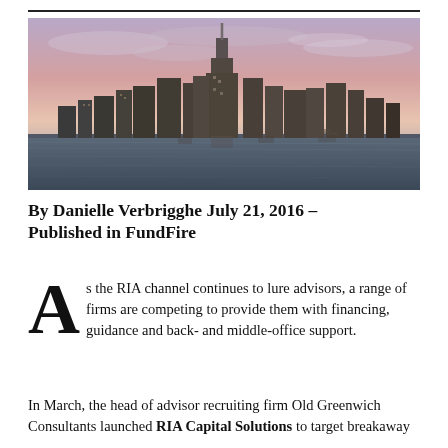[Figure (photo): Aerial/waterfront photograph of New York City skyline at dusk/sunset with One World Trade Center prominent, taken from across the water, with dramatic pink and purple sky.]
By Danielle Verbrigghe July 21, 2016 – Published in FundFire
As the RIA channel continues to lure advisors, a range of firms are competing to provide them with financing, guidance and back- and middle-office support.
In March, the head of advisor recruiting firm Old Greenwich Consultants launched RIA Capital Solutions to target breakaway